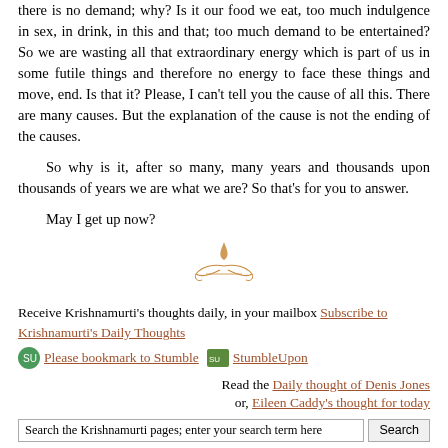there is no demand; why? Is it our food we eat, too much indulgence in sex, in drink, in this and that; too much demand to be entertained? So we are wasting all that extraordinary energy which is part of us in some futile things and therefore no energy to face these things and move, end. Is that it? Please, I can't tell you the cause of all this. There are many causes. But the explanation of the cause is not the ending of the causes.
So why is it, after so many, many years and thousands upon thousands of years we are what we are? So that's for you to answer.
May I get up now?
[Figure (illustration): Decorative ornamental flourish/divider in brownish color]
Receive Krishnamurti's thoughts daily, in your mailbox Subscribe to Krishnamurti's Daily Thoughts
Please bookmark to Stumble StumbleUpon
Read the Daily thought of Denis Jones
or, Eileen Caddy's thought for today
Search the Krishnamurti pages; enter your search term here [Search]